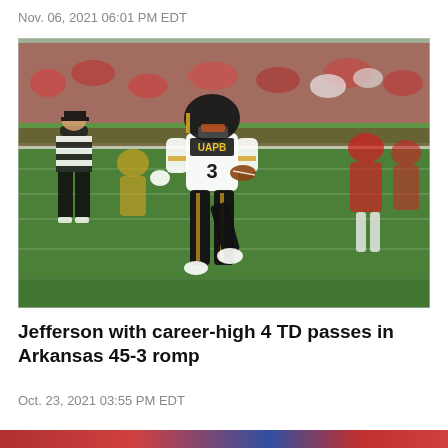Nov. 06, 2021 06:01 PM EDT
[Figure (photo): A UAPB #3 player in black and gold uniform running with the football on a green turf field, with a referee in black and white stripes to the left and Arkansas players in red uniforms in the background.]
Jefferson with career-high 4 TD passes in Arkansas 45-3 romp
Oct. 23, 2021 03:55 PM EDT